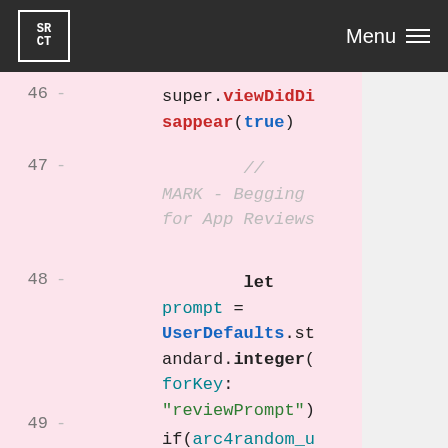SRCT | Menu
[Figure (screenshot): Code diff view showing Swift code with line numbers 46-49 on pink background. Line 46: super.viewDidDisappear(true). Line 47: // MARK - Begging for App Reviews (comment). Line 48: let prompt = UserDefaults.standard.integer(forKey: "reviewPrompt"). Line 49: if(arc4random_uniform(100) > 90 && prompt >=]